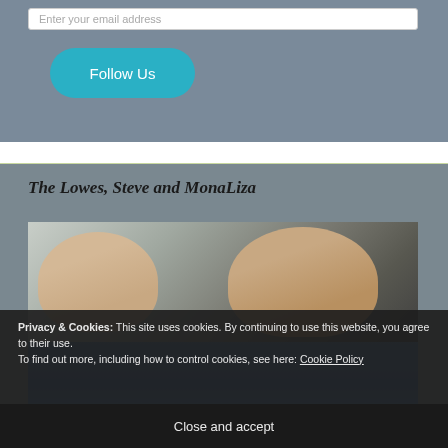Enter your email address
Follow Us
The Lowes, Steve and MonaLiza
[Figure (photo): Photo of two people (Steve and MonaLiza Lowes) with headphones near a microphone, appearing to be in a radio or podcast studio setting.]
Privacy & Cookies: This site uses cookies. By continuing to use this website, you agree to their use.
To find out more, including how to control cookies, see here: Cookie Policy
Close and accept